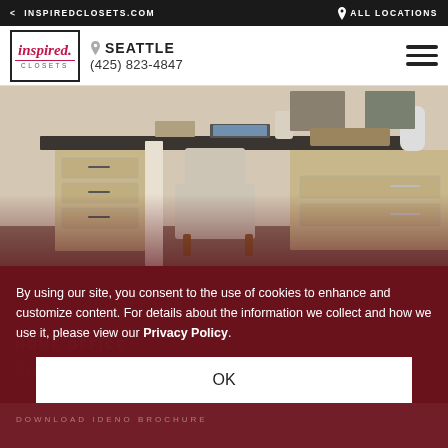< INSPIREDCLOSETS.COM | ALL LOCATIONS
[Figure (logo): Inspired Closets logo — stylized italic script 'inspired' with 'CLOSETS' in small caps below, inside a black border rectangle]
SEATTLE
(425) 823-4847
[Figure (photo): Custom home office built-in furniture with dark charcoal countertop, light wood drawers, an upholstered chair, laptop, and decorative accessories]
By using our site, you consent to the use of cookies to enhance and customize content. For details about the information we collect and how we use it, please view our Privacy Policy.
OK
HOME OFFICE
DOWNLOAD IDENO BROCHURE